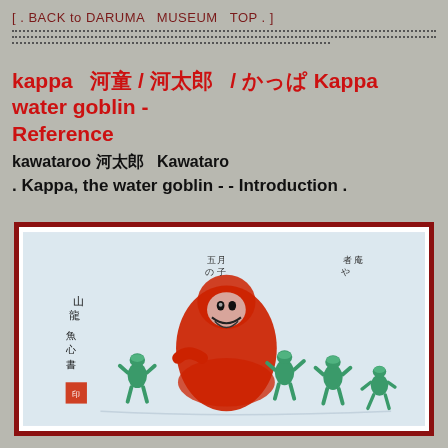[ . BACK to DARUMA   MUSEUM   TOP . ]
kappa   河童 / 河太郎   / かっぱ Kappa water goblin - Reference
kawataroo 河太郎   Kawataro
. Kappa, the water goblin - - Introduction .
[Figure (illustration): Japanese ink painting showing a large red-robed figure (Daruma) seated in the center, surrounded by multiple small green kappa (water goblins) dancing around him. Black calligraphy text and a red seal stamp are visible on the left side of the painting.]